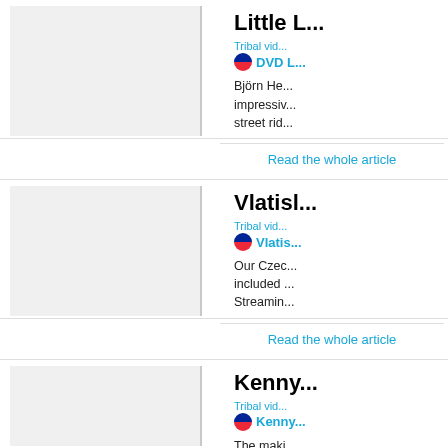Little L...
Tribal vid...
DVD L...
Björn He... impressiv... street rid...
Read the whole article
Vlatisl...
Tribal vid...
Vlatis...
Our Czec... included ... Streamin...
Read the whole article
Kenny...
Tribal vid...
Kenny...
The maki... on behalf...